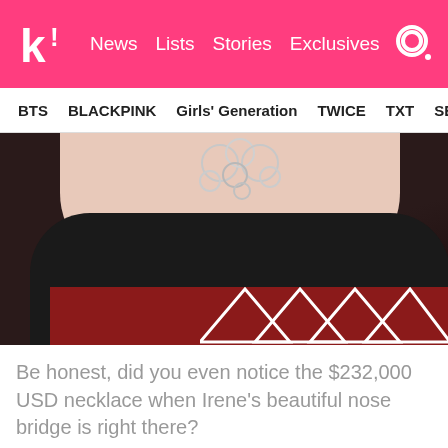k! News Lists Stories Exclusives
BTS BLACKPINK Girls' Generation TWICE TXT SEVE
[Figure (photo): Close-up photo of a person wearing a black strapless top and a silver statement necklace, in front of a dark red background with white triangle/chevron design elements.]
Be honest, did you even notice the $232,000 USD necklace when Irene’s beautiful nose bridge is right there?
2. This “La Rouge” poster had